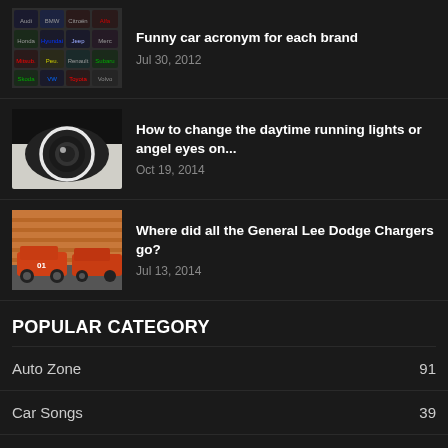[Figure (photo): Grid of car brand logos including Audi, BMW, Citroen, Honda, Hyundai, Jeep, Mercedes, Mitsubishi, Peugeot, Renault, Skoda, Subaru, Toyota and others]
Funny car acronym for each brand
Jul 30, 2012
[Figure (photo): Close-up of a white car headlight with angel eyes / daytime running lights]
How to change the daytime running lights or angel eyes on...
Oct 19, 2014
[Figure (photo): Orange Dodge Chargers (General Lee replicas) parked in a row next to a fence]
Where did all the General Lee Dodge Chargers go?
Jul 13, 2014
POPULAR CATEGORY
Auto Zone  91
Car Songs  39
How To Do It Yourself  30
Auto News  24